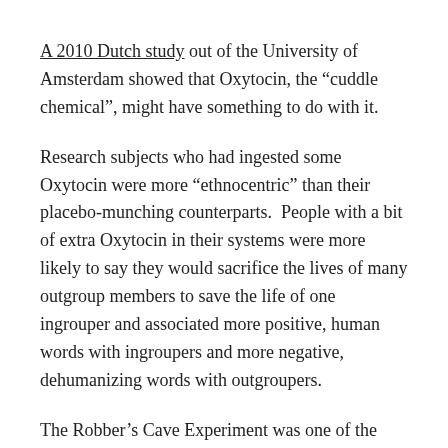A 2010 Dutch study out of the University of Amsterdam showed that Oxytocin, the "cuddle chemical", might have something to do with it.
Research subjects who had ingested some Oxytocin were more "ethnocentric" than their placebo-munching counterparts. People with a bit of extra Oxytocin in their systems were more likely to say they would sacrifice the lives of many outgroup members to save the life of one ingrouper and associated more positive, human words with ingroupers and more negative, dehumanizing words with outgroupers.
The Robber’s Cave Experiment was one of the first field experiments in social psychology. It inspired Philip Zambardo’s Stanford Prison Experiment and Stanley Milgram’s Obedience Experiment. It pushed people to consider why they acted in bigoted ways and showed how easy it can be to both turn people on each other and bring them